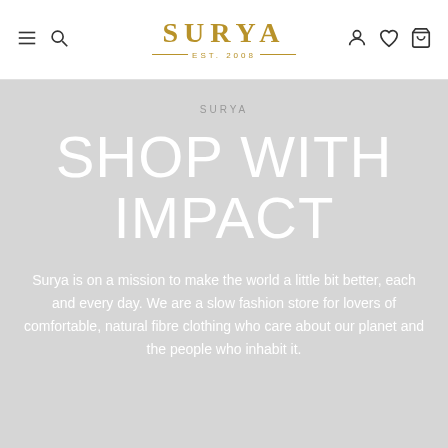SURYA — Navigation bar with menu, search, account, wishlist, cart icons and SURYA EST. 2008 logo
SURYA
SHOP WITH IMPACT
Surya is on a mission to make the world a little bit better, each and every day. We are a slow fashion store for lovers of comfortable, natural fibre clothing who care about our planet and the people who inhabit it.